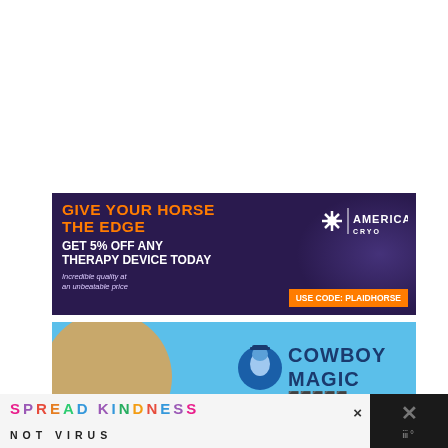[Figure (illustration): Advertisement banner for America Cryo: dark purple background with orange and white text 'GIVE YOUR HORSE THE EDGE / GET 5% OFF ANY THERAPY DEVICE TODAY', tagline 'Incredible quality at an unbeatable price', promo code 'Use Code: PLAIDHORSE', and America Cryo logo top right.]
[Figure (illustration): Advertisement for Cowboy Magic with blue background, circular photo of person with horse/hair, and Cowboy Magic logo with mascot.]
[Figure (illustration): Bottom banner ad: 'SPREAD KINDNESS NOT VIRUS' in colorful letters on light background with close button X. Right dark panel with X icon.]